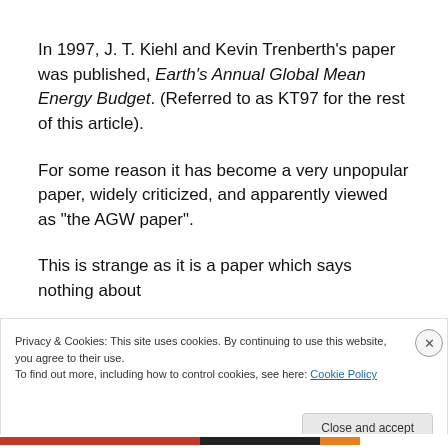In 1997, J. T. Kiehl and Kevin Trenberth's paper was published, Earth's Annual Global Mean Energy Budget. (Referred to as KT97 for the rest of this article).
For some reason it has become a very unpopular paper, widely criticized, and apparently viewed as "the AGW paper".
This is strange as it is a paper which says nothing about
Privacy & Cookies: This site uses cookies. By continuing to use this website, you agree to their use.
To find out more, including how to control cookies, see here: Cookie Policy